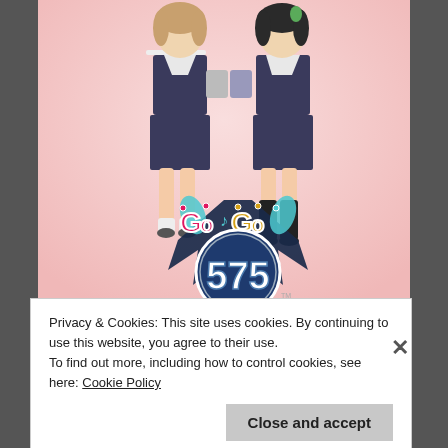[Figure (illustration): Anime illustration of two schoolgirls in dark sailor uniforms on a pink background, with the 'Go Go 575' game logo at the bottom featuring colorful text and a large dark blue circle with '575' in white.]
Privacy & Cookies: This site uses cookies. By continuing to use this website, you agree to their use.
To find out more, including how to control cookies, see here: Cookie Policy
Close and accept